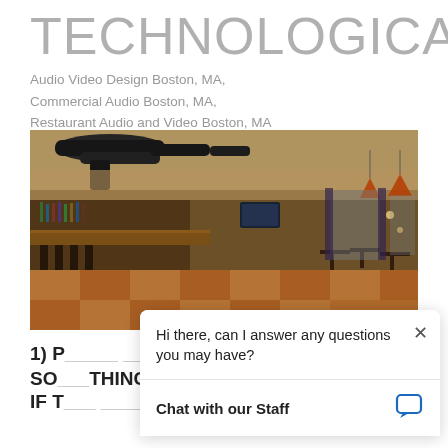TECHNOLOGICALLY
Audio Video Design Boston, MA,
Commercial Audio Boston, MA,
Restaurant Audio and Video Boston, MA
[Figure (photo): Interior of a restaurant/bar with warm lighting, exposed duct pipes on ceiling, bar counter on left, tables and chairs throughout, checkered floor tiles, pendant lamps.]
1) P_____ _______ __ ______ __
SOMETHING BUT THEY'RE NOT SURE
IF T___ _____________ ___HEIR